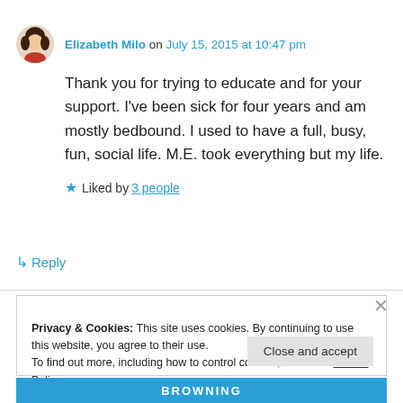Elizabeth Milo on July 15, 2015 at 10:47 pm
Thank you for trying to educate and for your support. I've been sick for four years and am mostly bedbound. I used to have a full, busy, fun, social life. M.E. took everything but my life.
Liked by 3 people
↳ Reply
Privacy & Cookies: This site uses cookies. By continuing to use this website, you agree to their use.
To find out more, including how to control cookies, see here: Cookie Policy
Close and accept